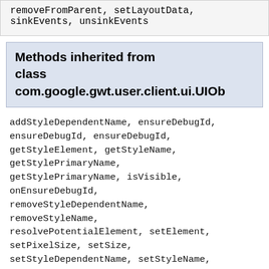removeFromParent, setLayoutData, sinkEvents, unsinkEvents
Methods inherited from class com.google.gwt.user.client.ui.UIObject
addStyleDependentName, ensureDebugId, ensureDebugId, ensureDebugId, getStyleElement, getStyleName, getStylePrimaryName, getStylePrimaryName, isVisible, onEnsureDebugId, removeStyleDependentName, removeStyleName, resolvePotentialElement, setElement, setPixelSize, setSize, setStyleDependentName, setStyleName, setStyleName, setStyleName, setStylePrimaryName, setStylePrimaryName, setVisible, sinkBitlessEvent